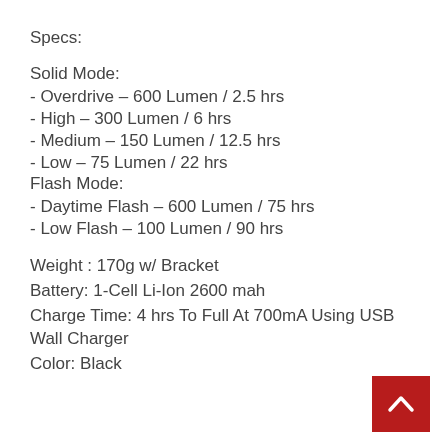Specs:
Solid Mode:
- Overdrive – 600 Lumen / 2.5 hrs
- High – 300 Lumen / 6 hrs
- Medium – 150 Lumen / 12.5 hrs
- Low – 75 Lumen / 22 hrs
Flash Mode:
- Daytime Flash – 600 Lumen / 75 hrs
- Low Flash – 100 Lumen / 90 hrs
Weight : 170g w/ Bracket
Battery: 1-Cell Li-Ion 2600 mah
Charge Time: 4 hrs To Full At 700mA Using USB Wall Charger
Color: Black